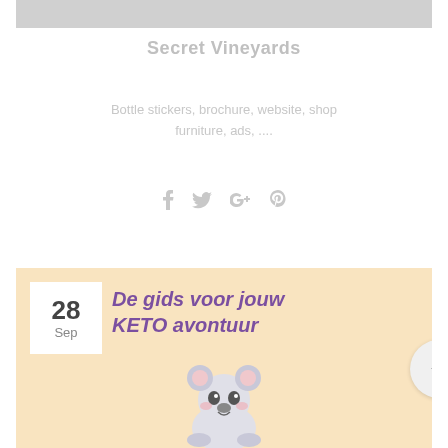[Figure (photo): Gray rectangular image placeholder at the top of the page]
Secret Vineyards
Bottle stickers, brochure, website, shop furniture, ads, ....
[Figure (infographic): Social media share icons: Facebook, Twitter, Google+, Pinterest in light gray]
[Figure (illustration): Blog post card with peach/orange background, date badge showing 28 Sep, italic purple bold title 'De gids voor jouw KETO avontuur', and a cute koala illustration at the bottom]